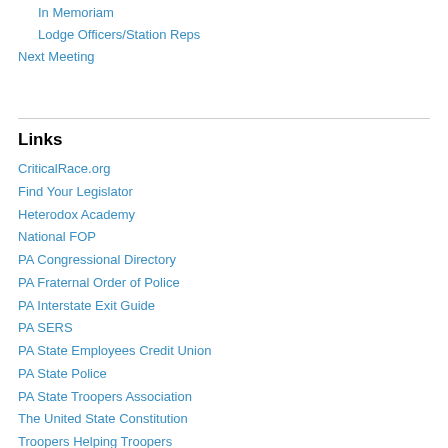In Memoriam
Lodge Officers/Station Reps
Next Meeting
Links
CriticalRace.org
Find Your Legislator
Heterodox Academy
National FOP
PA Congressional Directory
PA Fraternal Order of Police
PA Interstate Exit Guide
PA SERS
PA State Employees Credit Union
PA State Police
PA State Troopers Association
The United State Constitution
Troopers Helping Troopers